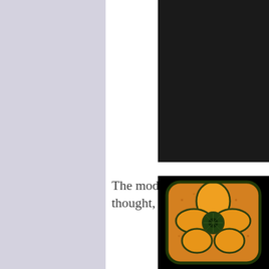[Figure (photo): Left sidebar with lavender/light purple background]
[Figure (photo): Top right photo showing a person's hand and arm raised, wearing dark clothing with a light-colored sleeve/cuff, with green foliage visible in background]
The modern era, some thought, wa...
[Figure (photo): Bottom right photo showing a decorative orange/yellow flower with dark green outline on a black background, appearing to be a brooch or ceramic piece]